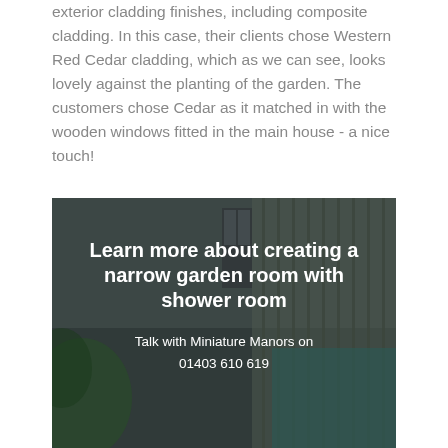exterior cladding finishes, including composite cladding. In this case, their clients chose Western Red Cedar cladding, which as we can see, looks lovely against the planting of the garden. The customers chose Cedar as it matched in with the wooden windows fitted in the main house - a nice touch!
[Figure (photo): A dark-toned promotional banner image of a narrow garden room with cedar cladding, overlaid with white text: 'Learn more about creating a narrow garden room with shower room' and 'Talk with Miniature Manors on 01403 610 619']